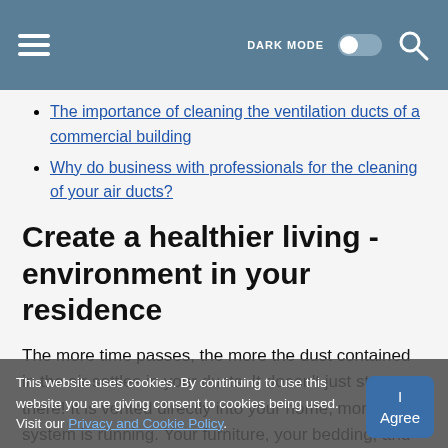DARK MODE [toggle] [search]
The importance of cleaning the ventilation ducts of a commercial building
Why do business with professionals for the cleaning of your air ducts?
Create a healthier living - environment in your residence
The more time passes, the more the dust contained in the air settles in your ducts. It doesn't just stay there! It is vented directly into your home, more the system is running. Your furniture, your bedding, and even the covering of your floor serve as a support for this dust. Regular cleaning of your ventilation ducts will allow you to do the
This website uses cookies. By continuing to use this website you are giving consent to cookies being used. Visit our Privacy and Cookie Policy.